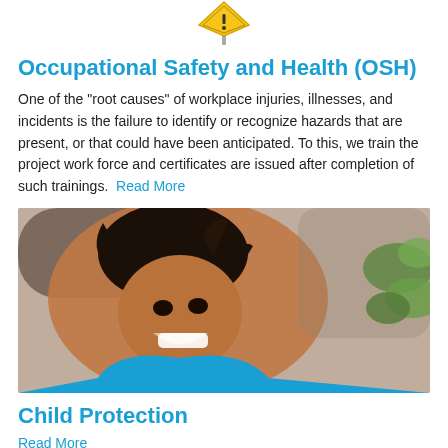[Figure (illustration): Warning/caution sign icon at the top of the page]
Occupational Safety and Health (OSH)
One of the "root causes" of workplace injuries, illnesses, and incidents is the failure to identify or recognize hazards that are present, or that could have been anticipated. To this, we train the project work force and certificates are issued after completion of such trainings.  Read More
[Figure (photo): Photo of a smiling child with braided hair wearing a blue shirt, with green leaves and a blurred background]
Child Protection
Read More